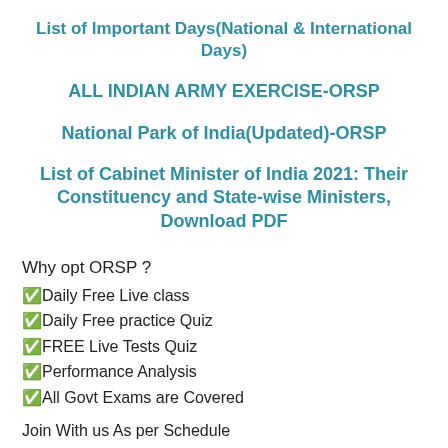List of Important Days(National & International Days)
ALL INDIAN ARMY EXERCISE-ORSP
National Park of India(Updated)-ORSP
List of Cabinet Minister of India 2021: Their Constituency and State-wise Ministers, Download PDF
Why opt ORSP ?
✅Daily Free Live class
✅Daily Free practice Quiz
✅FREE Live Tests Quiz
✅Performance Analysis
✅All Govt Exams are Covered
Join With us As per Schedule
And